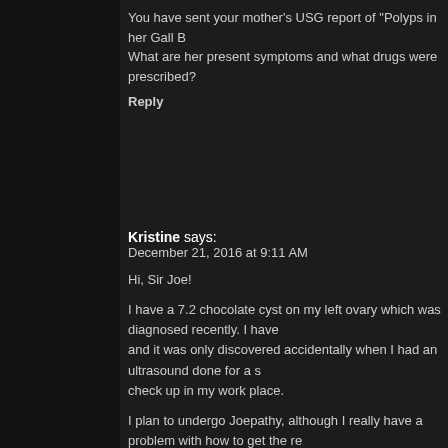You have sent your mother's USG report of "Polyps in her Gall B... What are her present symptoms and what drugs were prescribed?
Reply
Kristine says:
December 21, 2016 at 9:11 AM
Hi, Sir Joe!
I have a 7.2 chocolate cyst on my left ovary which was diagnosed recently. I have and it was only discovered accidentally when I had an ultrasound done for a s check up in my work place.
I plan to undergo Joepathy, although I really have a problem with how to get the re since they are not available here in the Philippines. My questions are:
1. How will I proceed with Joepathy if I am not able to get the Liquid Dilution? A only sells pellets and not the liquid kind.
2. Do I need to take Arnica? I feel no pain, unlike most cases of endometriosis.
3. Is there a chance for my cyst to be dissolved naturally?
Please help me.